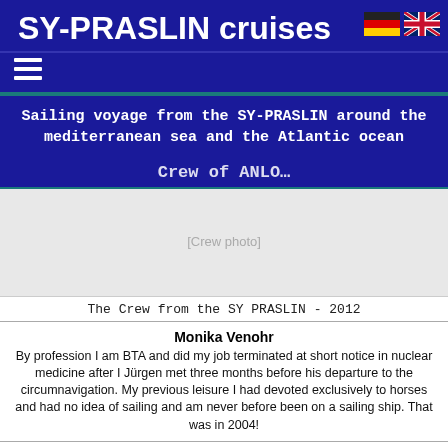SY-PRASLIN cruises
Sailing voyage from the SY-PRASLIN around the mediterranean sea and the Atlantic ocean
[Figure (photo): Photo of the crew from the SY PRASLIN - 2012]
The Crew from the SY PRASLIN - 2012
Monika Venohr
By profession I am BTA and did my job terminated at short notice in nuclear medicine after I Jürgen met three months before his departure to the circumnavigation. My previous leisure I had devoted exclusively to horses and had no idea of sailing and am never before been on a sailing ship. That was in 2004!
Jürgen Faulenbach